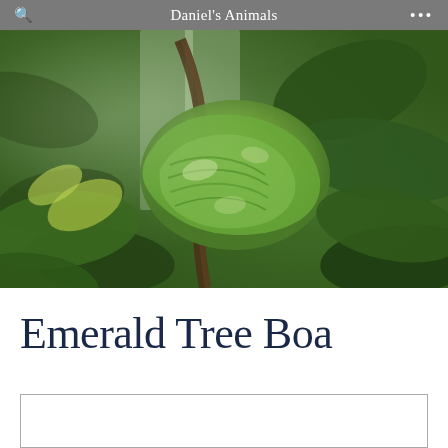Daniel's Animals
[Figure (photo): A green emerald tree boa coiled around a branch among large tropical leaves, photographed through glass in what appears to be a terrarium or zoo enclosure. The snake's bright green scales are clearly visible as it rests in a coiled position.]
Emerald Tree Boa